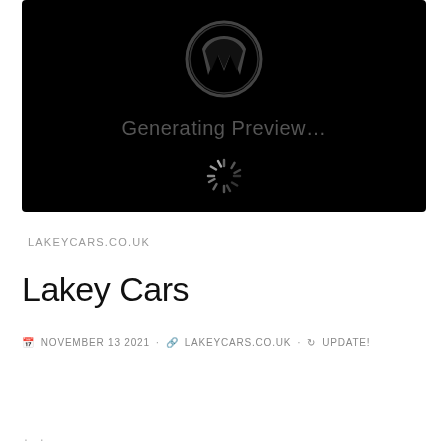[Figure (screenshot): WordPress site preview screenshot showing black background with WordPress logo (W in circle), text 'Generating Preview...' in gray, and a loading spinner below]
LAKEYCARS.CO.UK
Lakey Cars
NOVEMBER 13 2021 · LAKEYCARS.CO.UK · UPDATE!
. .